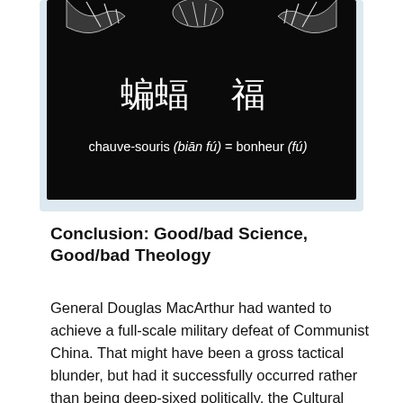[Figure (photo): A dark/black background image showing Chinese characters 蝙蝠 and 福 with caption text: 'chauve-souris (biān fú) = bonheur (fú)']
Conclusion: Good/bad Science, Good/bad Theology
General Douglas MacArthur had wanted to achieve a full-scale military defeat of Communist China. That might have been a gross tactical blunder, but had it successfully occurred rather than being deep-sixed politically, the Cultural Revolution with